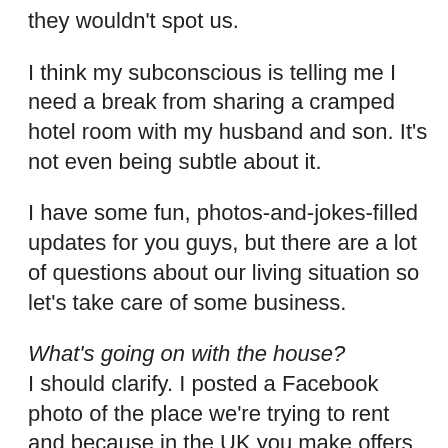they wouldn't spot us.
I think my subconscious is telling me I need a break from sharing a cramped hotel room with my husband and son. It's not even being subtle about it.
I have some fun, photos-and-jokes-filled updates for you guys, but there are a lot of questions about our living situation so let's take care of some business.
What's going on with the house?
I should clarify. I posted a Facebook photo of the place we're trying to rent and because in the UK you make offers on rentals – that's right, you can offer to pay less than the asking monthly rent, and landlords sometimes will accept lower offers! – I think I